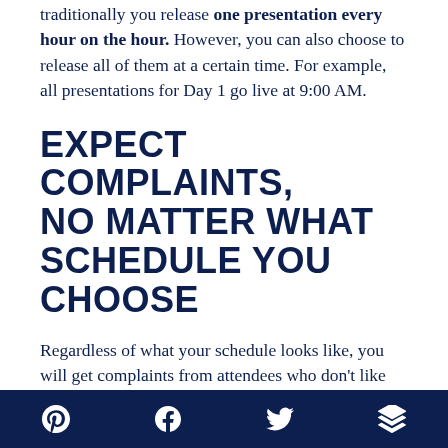traditionally you release one presentation every hour on the hour. However, you can also choose to release all of them at a certain time. For example, all presentations for Day 1 go live at 9:00 AM.
EXPECT COMPLAINTS, NO MATTER WHAT SCHEDULE YOU CHOOSE
Regardless of what your schedule looks like, you will get complaints from attendees who don't like your choice. Know what to do when
Pinterest | Facebook | Twitter | Buffer